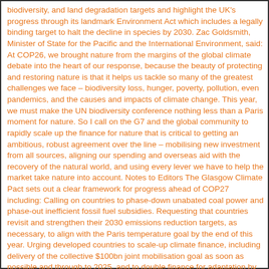biodiversity, and land degradation targets and highlight the UK's progress through its landmark Environment Act which includes a legally binding target to halt the decline in species by 2030. Zac Goldsmith, Minister of State for the Pacific and the International Environment, said: At COP26, we brought nature from the margins of the global climate debate into the heart of our response, because the beauty of protecting and restoring nature is that it helps us tackle so many of the greatest challenges we face – biodiversity loss, hunger, poverty, pollution, even pandemics, and the causes and impacts of climate change. This year, we must make the UN biodiversity conference nothing less than a Paris moment for nature. So I call on the G7 and the global community to rapidly scale up the finance for nature that is critical to getting an ambitious, robust agreement over the line – mobilising new investment from all sources, aligning our spending and overseas aid with the recovery of the natural world, and using every lever we have to help the market take nature into account. Notes to Editors The Glasgow Climate Pact sets out a clear framework for progress ahead of COP27 including: Calling on countries to phase-down unabated coal power and phase-out inefficient fossil fuel subsidies. Requesting that countries revisit and strengthen their 2030 emissions reduction targets, as necessary, to align with the Paris temperature goal by the end of this year. Urging developed countries to scale-up climate finance, including delivery of the collective $100bn joint mobilisation goal as soon as possible and through to 2025, and to double finance for adaptation by 2025 on 2019 levels. Underlining the central importance of adaptation, the dangers of loss and damage, and the need to scale-up action and support for both. Find out more about the Glasgow Climate Pact. Signatories of the Carbis Bay Declaration committed to the following: achieve net zero no later than 2050 halve collective emissions over the two decades to 2030 increase and improve climate